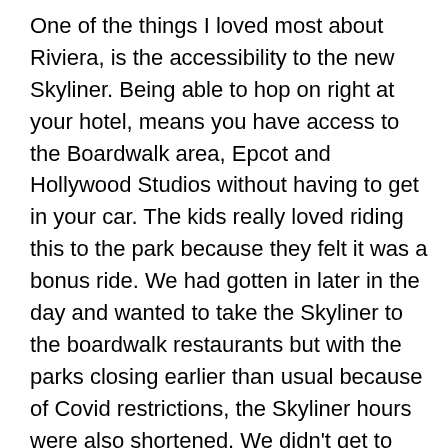One of the things I loved most about Riviera, is the accessibility to the new Skyliner. Being able to hop on right at your hotel, means you have access to the Boardwalk area, Epcot and Hollywood Studios without having to get in your car. The kids really loved riding this to the park because they felt it was a bonus ride. We had gotten in later in the day and wanted to take the Skyliner to the boardwalk restaurants but with the parks closing earlier than usual because of Covid restrictions, the Skyliner hours were also shortened. We didn't get to use it this visit but I'm sure with a little more planning this is also a great asset for added dining options.